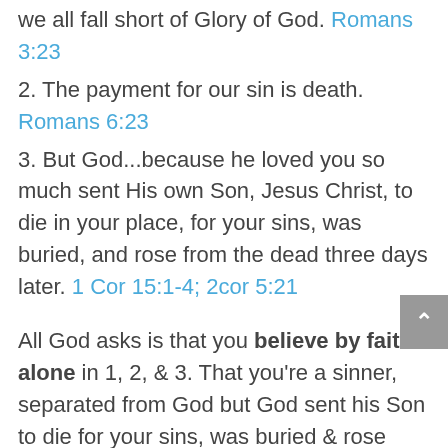we all fall short of Glory of God. Romans 3:23
2. The payment for our sin is death. Romans 6:23
3. But God...because he loved you so much sent His own Son, Jesus Christ, to die in your place, for your sins, was buried, and rose from the dead three days later. 1 Cor 15:1-4; 2cor 5:21
All God asks is that you believe by faith alone in 1, 2, & 3. That you're a sinner, separated from God but God sent his Son to die for your sins, was buried & rose again 3 days later.
that f...